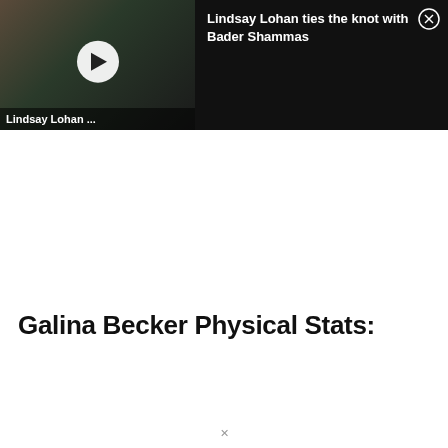[Figure (screenshot): Video banner showing Lindsay Lohan and Bader Shammas with play button, title 'Lindsay Lohan ...' on thumbnail and 'Lindsay Lohan ties the knot with Bader Shammas' as headline, with close (X) button]
Galina Becker Physical Stats: